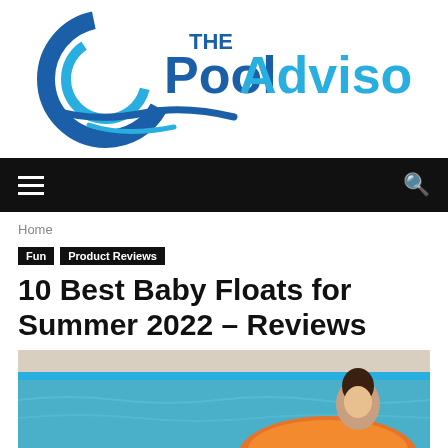[Figure (logo): The Pool Advisors logo with circular wave graphic in dark blue and light blue, with bold text 'Pool Advisors' and smaller text 'THE' above]
[Figure (other): Black navigation bar with hamburger menu icon on left and search icon on right]
Home
Fun   Product Reviews
10 Best Baby Floats for Summer 2022 – Reviews
[Figure (photo): Partial photo of a baby in an orange pool float in a swimming pool]